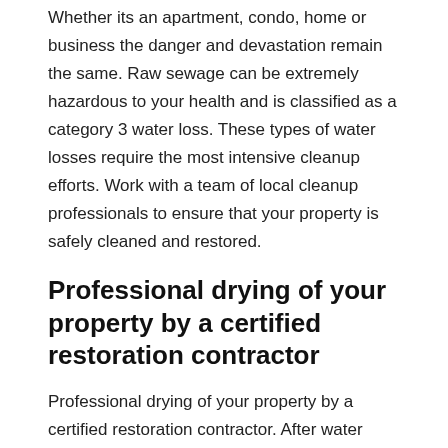Whether its an apartment, condo, home or business the danger and devastation remain the same. Raw sewage can be extremely hazardous to your health and is classified as a category 3 water loss. These types of water losses require the most intensive cleanup efforts. Work with a team of local cleanup professionals to ensure that your property is safely cleaned and restored.
Professional drying of your property by a certified restoration contractor
Professional drying of your property by a certified restoration contractor. After water removal and we are done cleaning up your property the next process is drying and sanitization. It is very important that your property is dried to the correct standards to reduce the potential of mold and mildew growth. Our company is certified to do all the water damage restoration and our charges are affordable. For the fastest response to any water damage emergency, call us, our local Lumberton, NC restoration team is on call 24/7 and handle all the small to large water damage situations for the...